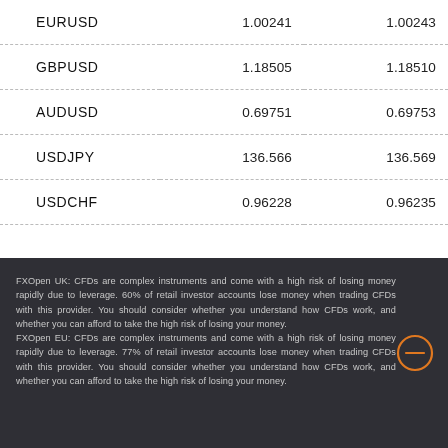| Pair | Bid | Ask |
| --- | --- | --- |
| EURUSD | 1.00241 | 1.00243 |
| GBPUSD | 1.18505 | 1.18510 |
| AUDUSD | 0.69751 | 0.69753 |
| USDJPY | 136.566 | 136.569 |
| USDCHF | 0.96228 | 0.96235 |
FXOpen UK: CFDs are complex instruments and come with a high risk of losing money rapidly due to leverage. 60% of retail investor accounts lose money when trading CFDs with this provider. You should consider whether you understand how CFDs work, and whether you can afford to take the high risk of losing your money. FXOpen EU: CFDs are complex instruments and come with a high risk of losing money rapidly due to leverage. 77% of retail investor accounts lose money when trading CFDs with this provider. You should consider whether you understand how CFDs work, and whether you can afford to take the high risk of losing your money.